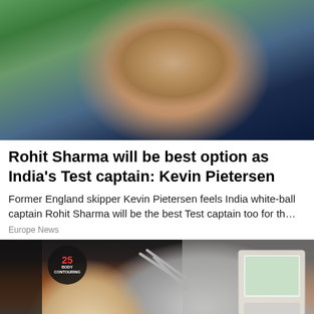[Figure (photo): Close-up photo of a middle-aged man, appears to be Kevin Pietersen or related sports figure, photographed outdoors with green bokeh background]
Rohit Sharma will be best option as India's Test captain: Kevin Pietersen
Former England skipper Kevin Pietersen feels India white-ball captain Rohit Sharma will be the best Test captain too for th…
Europe News
[Figure (photo): Photo of a woman lying back and smiling during what appears to be a body contouring treatment session, with medical/spa equipment visible including tubes and a monitor showing 25 BODY CONTOURING]